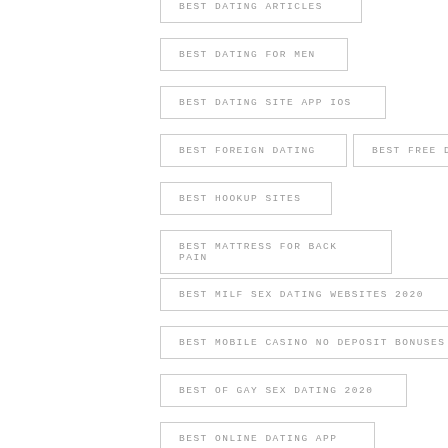BEST DATING ARTICLES
BEST DATING FOR MEN
BEST DATING SITE APP IOS
BEST FOREIGN DATING
BEST FREE DATE
BEST HOOKUP SITES
BEST MATTRESS FOR BACK PAIN
BEST MILF SEX DATING WEBSITES 2020
BEST MOBILE CASINO NO DEPOSIT BONUSES
BEST OF GAY SEX DATING 2020
BEST ONLINE DATING APP